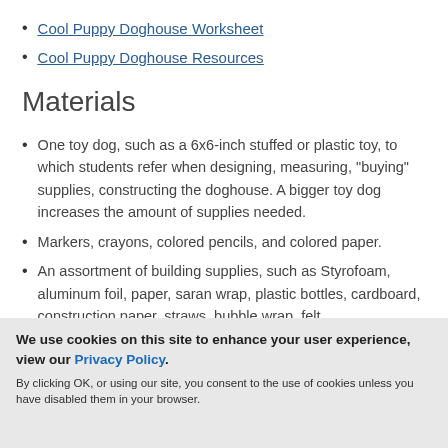Cool Puppy Doghouse Worksheet
Cool Puppy Doghouse Resources
Materials
One toy dog, such as a 6x6-inch stuffed or plastic toy, to which students refer when designing, measuring, "buying" supplies, constructing the doghouse. A bigger toy dog increases the amount of supplies needed.
Markers, crayons, colored pencils, and colored paper.
An assortment of building supplies, such as Styrofoam, aluminum foil, paper, saran wrap, plastic bottles, cardboard, construction paper, straws, bubble wrap, felt
We use cookies on this site to enhance your user experience, view our Privacy Policy. By clicking OK, or using our site, you consent to the use of cookies unless you have disabled them in your browser.